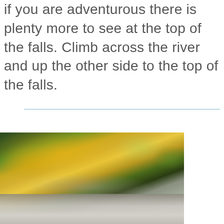If you are adventurous there is plenty more to see at the top of the falls. Climb across the river and up the other side to the top of the falls.
[Figure (photo): Autumn forest scene with yellow and golden foliage trees, rocky riverbed with cascading water visible in the foreground, sunlit natural landscape.]